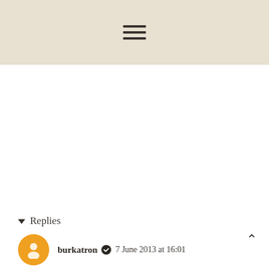☰ (hamburger menu icon)
▾ Replies
burkatron ✔ 7 June 2013 at 16:01
I don't have anything like it, it's a